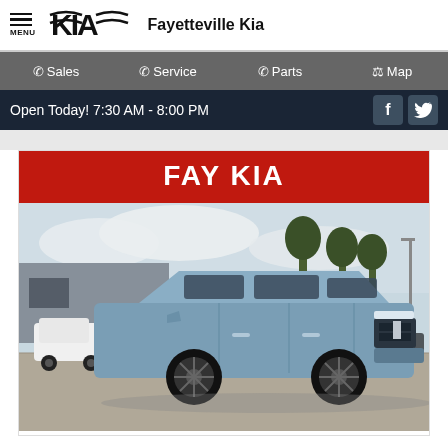MENU | Kia logo | Fayetteville Kia
Sales | Service | Parts | Map
Open Today! 7:30 AM - 8:00 PM
[Figure (photo): Fayetteville Kia dealership webpage screenshot showing a blue Lincoln Navigator SUV with a red FAY KIA banner above it]